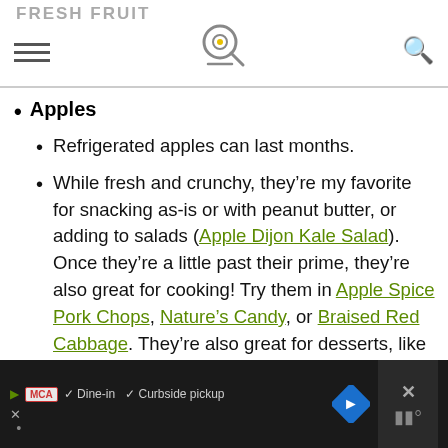FRESH FRUIT
Apples
Refrigerated apples can last months.
While fresh and crunchy, they’re my favorite for snacking as-is or with peanut butter, or adding to salads (Apple Dijon Kale Salad). Once they’re a little past their prime, they’re also great for cooking! Try them in Apple Spice Pork Chops, Nature’s Candy, or Braised Red Cabbage. They’re also great for desserts, like Slow Cooker Hot Buttered Apples.
MCA Dine-in Curbside pickup [ad bar]